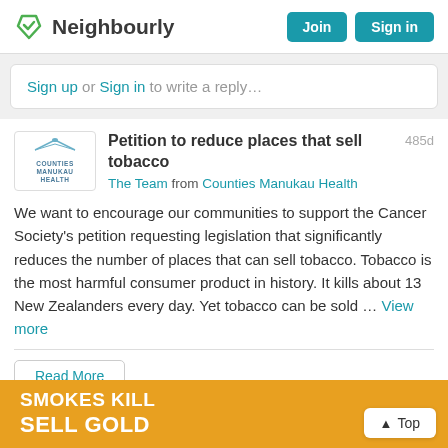Neighbourly — Join | Sign in
Sign up or Sign in to write a reply…
Petition to reduce places that sell tobacco — 485d — The Team from Counties Manukau Health
We want to encourage our communities to support the Cancer Society's petition requesting legislation that significantly reduces the number of places that can sell tobacco. Tobacco is the most harmful consumer product in history. It kills about 13 New Zealanders every day. Yet tobacco can be sold … View more
Read More
SMOKES KILL